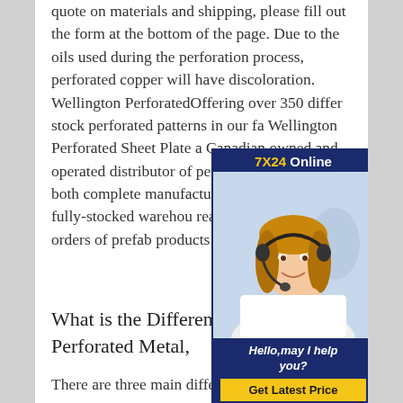quote on materials and shipping, please fill out the form at the bottom of the page. Due to the oils used during the perforation process, perforated copper will have discoloration. Wellington PerforatedOffering over 350 different stock perforated patterns in our fa... Wellington Perforated Sheet Plate... a Canadian owned and operated distributor of perforated metal. We both complete manufacturing cap... as well as a fully-stocked warehouse... ready for shipping orders of prefa... products.
[Figure (other): Customer service online chat widget showing '7X24 Online' header in gold and white on dark navy, a photo of a smiling woman with a headset, 'Hello, may I help you?' text, and a 'Get Latest Price' yellow button.]
What is the Difference Between Perforated Metal,
There are three main differences between